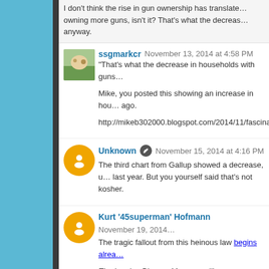I don't think the rise in gun ownership has translated to owning more guns, isn't it? That's what the decrease... anyway.
ssgmarkcr  November 13, 2014 at 4:58 PM
"That's what the decrease in households with guns...
Mike, you posted this showing an increase in hou... ago.
http://mikeb302000.blogspot.com/2014/11/fascinati...
Unknown  November 15, 2014 at 4:16 PM
The third chart from Gallup showed a decrease, u... last year. But you yourself said that's not kosher.
Kurt '45superman' Hofmann  November 19, 2014...
The tragic fallout from this heinous law begins alrea...
The Lynden Pioneer Museum will remove World W... and return them to their owners, to avoid violatin... according to the museum's director.